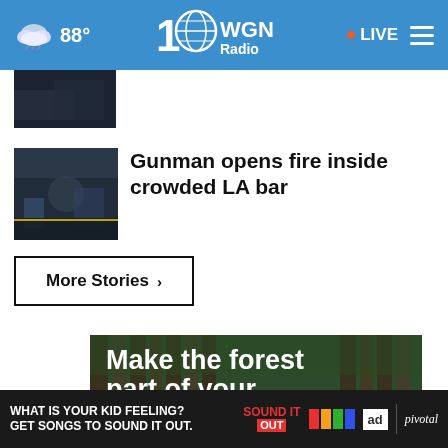88° WGN Radio 100 · LIVE
[Figure (photo): Partially visible news thumbnail image at top, dark scene]
Gunman opens fire inside crowded LA bar
More Stories ›
[Figure (photo): Forest advertisement image with text: Make the forest part of your story.]
WHAT IS YOUR KID FEELING? GET SONGS TO SOUND IT OUT. SOUND IT OUT ad council pivotal